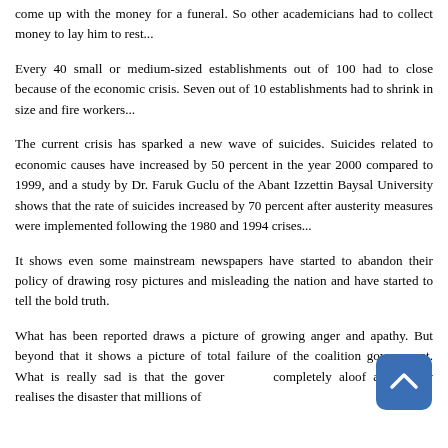come up with the money for a funeral. So other academicians had to collect money to lay him to rest...
Every 40 small or medium-sized establishments out of 100 had to close because of the economic crisis. Seven out of 10 establishments had to shrink in size and fire workers...
The current crisis has sparked a new wave of suicides. Suicides related to economic causes have increased by 50 percent in the year 2000 compared to 1999, and a study by Dr. Faruk Guclu of the Abant Izzettin Baysal University shows that the rate of suicides increased by 70 percent after austerity measures were implemented following the 1980 and 1994 crises...
It shows even some mainstream newspapers have started to abandon their policy of drawing rosy pictures and misleading the nation and have started to tell the bold truth.
What has been reported draws a picture of growing anger and apathy. But beyond that it shows a picture of total failure of the coalition government. What is really sad is that the government is completely aloof and hardly realises the disaster that millions of